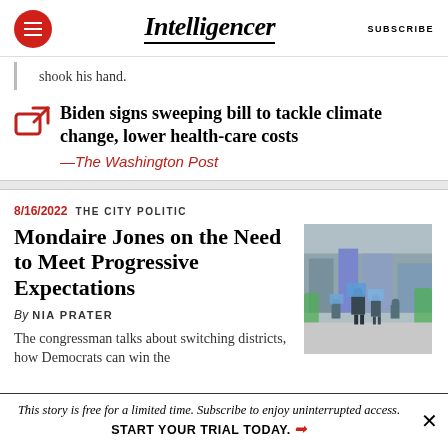Intelligencer | SUBSCRIBE
shook his hand.
Biden signs sweeping bill to tackle climate change, lower health-care costs —The Washington Post
8/16/2022  THE CITY POLITIC
Mondaire Jones on the Need to Meet Progressive Expectations
By NIA PRATER
The congressman talks about switching districts, how Democrats can win the
[Figure (photo): Outdoor protest scene with people holding blue signs]
This story is free for a limited time. Subscribe to enjoy uninterrupted access. START YOUR TRIAL TODAY.